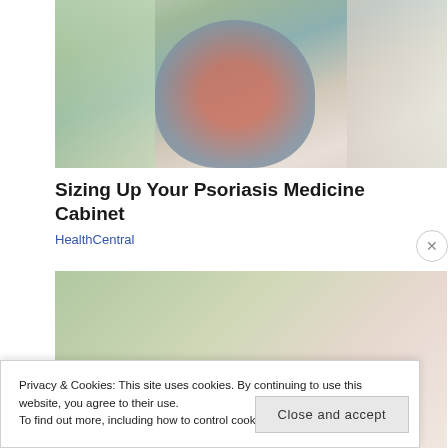[Figure (photo): Woman crouching in a pharmacy/drugstore aisle, examining a product on the shelf, wearing a red plaid shirt and jeans, surrounded by store shelves with health and beauty products]
Sizing Up Your Psoriasis Medicine Cabinet
HealthCentral
[Figure (photo): Partially visible second photo, appears to show close-up of some items, possibly medical/health related, with green, red and white tones]
Privacy & Cookies: This site uses cookies. By continuing to use this website, you agree to their use.
To find out more, including how to control cookies, see here: Cookie Policy
Close and accept